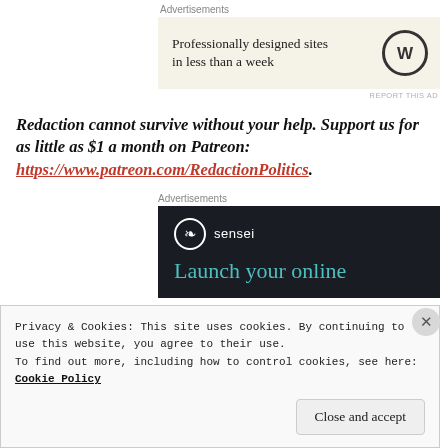Advertisements
[Figure (screenshot): WordPress advertisement banner: 'Professionally designed sites in less than a week' with WordPress logo]
REPORT THIS AD
Redaction cannot survive without your help. Support us for as little as $1 a month on Patreon: https://www.patreon.com/RedactionPolitics.
Advertisements
[Figure (screenshot): Sensei dark advertisement banner: Launch your online]
Privacy & Cookies: This site uses cookies. By continuing to use this website, you agree to their use. To find out more, including how to control cookies, see here: Cookie Policy
Close and accept